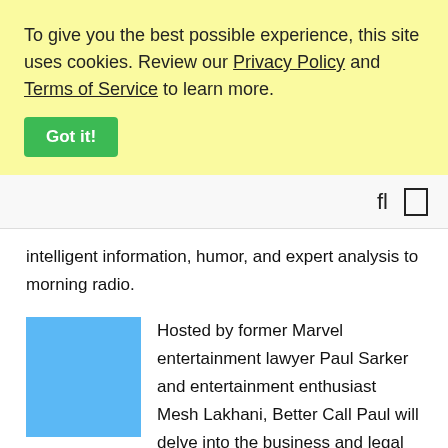To give you the best possible experience, this site uses cookies. Review our Privacy Policy and Terms of Service to learn more.
Got it!
[Figure (other): Navigation bar with search and menu icons]
intelligent information, humor, and expert analysis to morning radio.
[Figure (photo): Blue rectangular placeholder image]
Hosted by former Marvel entertainment lawyer Paul Sarker and entertainment enthusiast Mesh Lakhani, Better Call Paul will delve into the business and legal issues at play behind the glitz and glam. This show takes you beyond the catchy headlines to find out what's really at play behind the scenes and gives you an